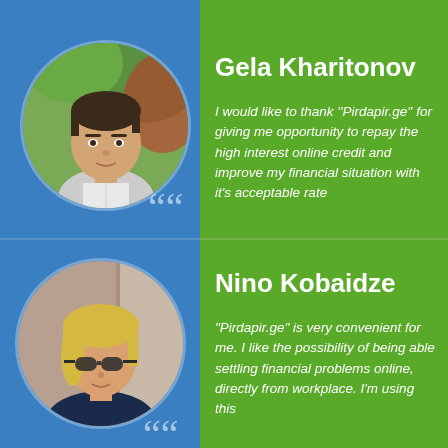[Figure (photo): Circular portrait photo of Gela Kharitonov, a young man in a white collared shirt, outdoors with green foliage background]
Gela Kharitonov
I would like to thank ''Pirdapir.ge'' for giving me opportunity to repay the high interest online credit and improve my financial situation with it's acceptable rate
[Figure (photo): Circular portrait photo of Nino Kobaidze, a blonde woman wearing sunglasses]
Nino Kobaidze
"Pirdapir.ge" is very convenient for me. I like the possibility of being able settling financial problems online, directly from workplace. I'm using this